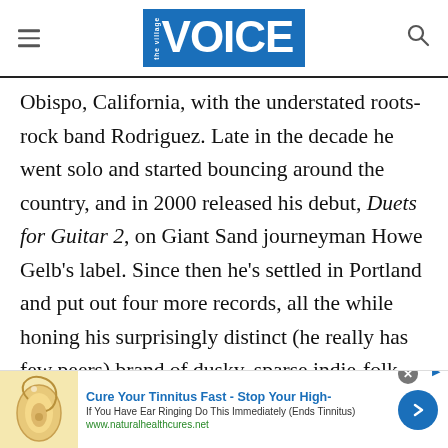The Village Voice
Obispo, California, with the understated roots-rock band Rodriguez. Late in the decade he went solo and started bouncing around the country, and in 2000 released his debut, Duets for Guitar 2, on Giant Sand journeyman Howe Gelb’s label. Since then he’s settled in Portland and put out four more records, all the while honing his surprisingly distinct (he really has few peers) brand of dusky, sparse indie-folk blues. His latest, released last week, is called Post-War.
[Figure (infographic): Advertisement banner: ear illustration with text 'Cure Your Tinnitus Fast - Stop Your High-' and subtext 'If You Have Ear Ringing Do This Immediately (Ends Tinnitus)' and URL www.naturalhealthcures.net]